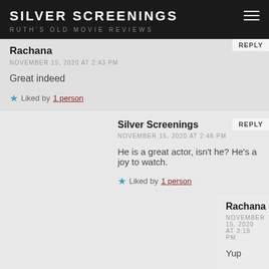SILVER SCREENINGS
RUTH'S OLD MOVIE REVIEWS
Rachana
NOVEMBER 15, 2020 AT 2:43 PM
Great indeed
Liked by 1 person
Silver Screenings
NOVEMBER 15, 2020 AT 2:46 PM
He is a great actor, isn't he? He's a joy to watch.
Liked by 1 person
Rachana
NOVEMBER 15, 2020 AT 3:18 PM
Yup